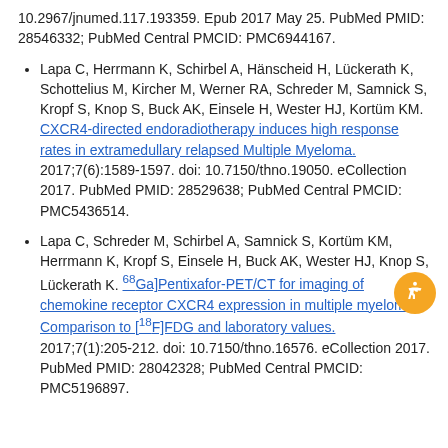10.2967/jnumed.117.193359. Epub 2017 May 25. PubMed PMID: 28546332; PubMed Central PMCID: PMC6944167.
Lapa C, Herrmann K, Schirbel A, Hänscheid H, Lückerath K, Schottelius M, Kircher M, Werner RA, Schreder M, Samnick S, Kropf S, Knop S, Buck AK, Einsele H, Wester HJ, Kortüm KM. CXCR4-directed endoradiotherapy induces high response rates in extramedullary relapsed Multiple Myeloma. 2017;7(6):1589-1597. doi: 10.7150/thno.19050. eCollection 2017. PubMed PMID: 28529638; PubMed Central PMCID: PMC5436514.
Lapa C, Schreder M, Schirbel A, Samnick S, Kortüm KM, Herrmann K, Kropf S, Einsele H, Buck AK, Wester HJ, Knop S, Lückerath K. [68Ga]Pentixafor-PET/CT for imaging of chemokine receptor CXCR4 expression in multiple myeloma - Comparison to [18F]FDG and laboratory values. 2017;7(1):205-212. doi: 10.7150/thno.16576. eCollection 2017. PubMed PMID: 28042328; PubMed Central PMCID: PMC5196897.